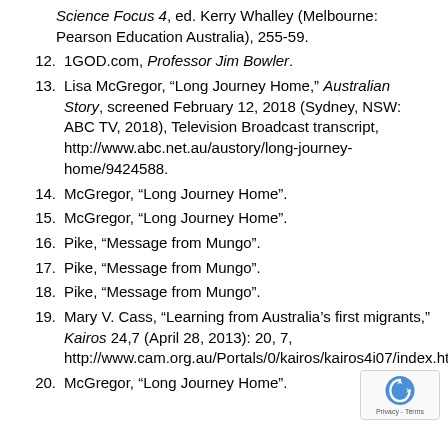Science Focus 4, ed. Kerry Whalley (Melbourne: Pearson Education Australia), 255-59.
12. 1GOD.com, Professor Jim Bowler.
13. Lisa McGregor, “Long Journey Home,” Australian Story, screened February 12, 2018 (Sydney, NSW: ABC TV, 2018), Television Broadcast transcript, http://www.abc.net.au/austory/long-journey-home/9424588.
14. McGregor, “Long Journey Home”.
15. McGregor, “Long Journey Home”.
16. Pike, “Message from Mungo”.
17. Pike, “Message from Mungo”.
18. Pike, “Message from Mungo”.
19. Mary V. Cass, “Learning from Australia’s first migrants,” Kairos 24,7 (April 28, 2013): 20, 7, http://www.cam.org.au/Portals/0/kairos/kairos4i07/index.html.
20. McGregor, “Long Journey Home”.